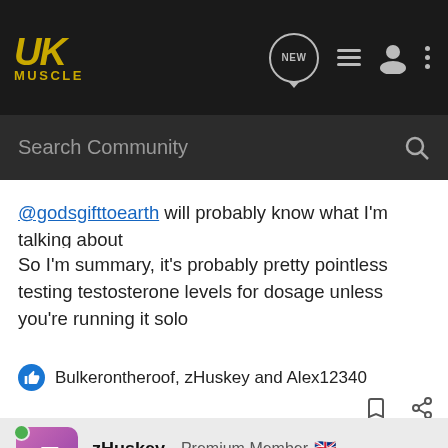UK Muscle - Search Community
@godsgifttoearth will probably know what I'm talking about
So I'm summary, it's probably pretty pointless testing testosterone levels for dosage unless you're running it solo
Bulkerontheroof, zHuskey and Alex12340
zHuskey · Premium Member · Joined Mar 25, 2011 · 441 Posts
#7 · May 22, 2022
Must be Chiron test to produce those levels?